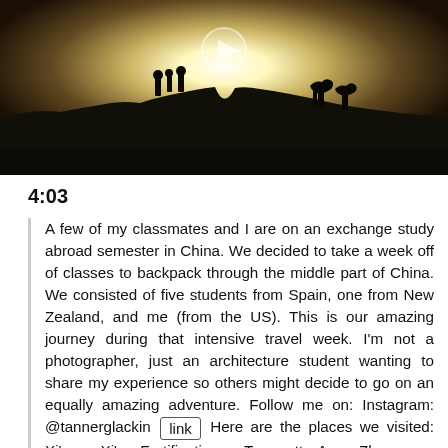[Figure (photo): Video thumbnail showing silhouettes of people and animals (possibly camels) on a ridge against a bright sun/backlight sky. Dark foreground, dramatic backlight.]
4:03
A few of my classmates and I are on an exchange study abroad semester in China. We decided to take a week off of classes to backpack through the middle part of China. We consisted of five students from Spain, one from New Zealand, and me (from the US). This is our amazing journey during that intensive travel week. I'm not a photographer, just an architecture student wanting to share my experience so others might decide to go on an equally amazing adventure. Follow me on: Instagram: @tannerglackin [link] Here are the places we visited: Xi'an: • Xi'an Fortifications • Terracotta Army Zhangye: • Mati Si • Rainbow Mountains • Danxia Grand Canyon Dunhuang: • Gobi Desert Equipment: iPhone 6 Selfie Stick (Bought off the street) Software: iMovie Music: Indian Summer... [link] This is our first video and...